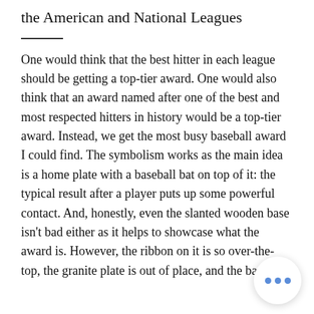… Award for the Top Hitter in Each of the American and National Leagues
One would think that the best hitter in each league should be getting a top-tier award. One would also think that an award named after one of the best and most respected hitters in history would be a top-tier award. Instead, we get the most busy baseball award I could find. The symbolism works as the main idea is a home plate with a baseball bat on top of it: the typical result after a player puts up some powerful contact. And, honestly, even the slanted wooden base isn't bad either as it helps to showcase what the award is. However, the ribbon on it is so over-the-top, the granite plate is out of place, and the bat be… …